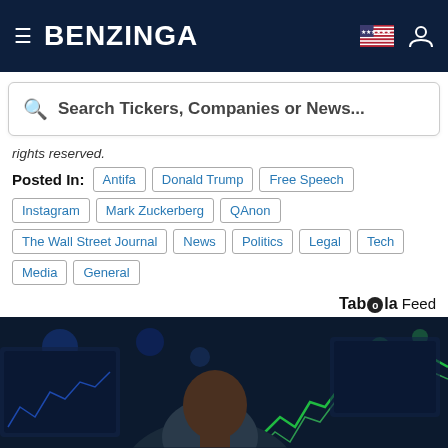BENZINGA
Search Tickers, Companies or News...
rights reserved.
Posted In: Antifa | Donald Trump | Free Speech | Instagram | Mark Zuckerberg | QAnon | The Wall Street Journal | News | Politics | Legal | Tech | Media | General
Taboola Feed
[Figure (photo): Person viewed from behind/side looking at trading screens showing stock charts with green lines and blue displays]